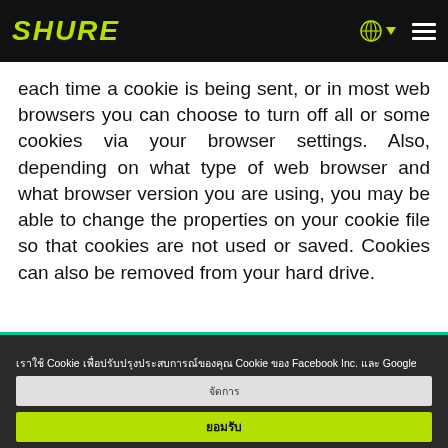SHURE
each time a cookie is being sent, or in most web browsers you can choose to turn off all or some cookies via your browser settings. Also, depending on what type of web browser and what browser version you are using, you may be able to change the properties on your cookie file so that cookies are not used or saved. Cookies can also be removed from your hard drive.
เราใช้ Cookie เพื่อปรับปรุงประสบการณ์ของคุณ Cookie ของ Facebook Inc. และ Google LLC รวมถึงรายการของบุคคลที่สามอื่น ๆ ถูกนำมาใช้บนไซต์นี้ด้วย Cookie ของ Shure ข้อมูลเพิ่มเติม Cookie กดปุ่ม"ยอมรับ"เพื่อให้ Cookie เหล่านั้น
จัดการ
ยอมรับ